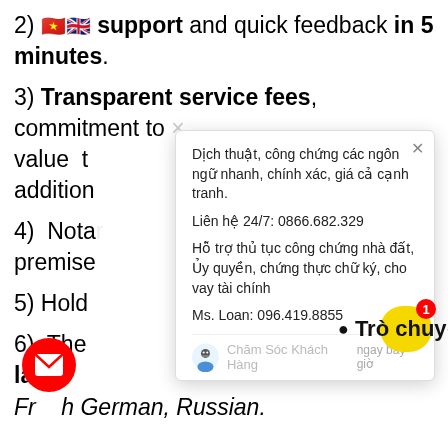2) 🇻🇳🇬🇧 support and quick feedback in 5 minutes.
3) Transparent service fees, commitment to value the addition
4) Notar premise
5) Hold
6) The la g French, German, Russian.
7) Money Back if t committed.
[Figure (screenshot): Popup dialog with Vietnamese text: Dịch thuật, công chứng các ngôn ngữ nhanh, chính xác, giá cả cạnh tranh. Liên hệ 24/7: 0866.682.329. Hỗ trợ thủ tục công chứng nhà đất, Ủy quyền, chứng thực chữ ký, cho vay tài chính. Ms. Loan: 096.419.8855. Footer: Chăm Sóc Khách Hàng - ngay bây giờ]
[Figure (infographic): Red circular mail button and yellow Trò chuyện (chat) button with badge showing 1]